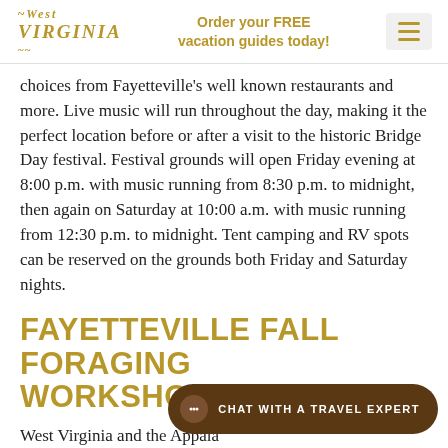West Virginia | Order your FREE vacation guides today!
choices from Fayetteville's well known restaurants and more. Live music will run throughout the day, making it the perfect location before or after a visit to the historic Bridge Day festival. Festival grounds will open Friday evening at 8:00 p.m. with music running from 8:30 p.m. to midnight, then again on Saturday at 10:00 a.m. with music running from 12:30 p.m. to midnight. Tent camping and RV spots can be reserved on the grounds both Friday and Saturday nights.
FAYETTEVILLE FALL FORAGING WORKSHOP & HIKE
West Virginia and the Appala...